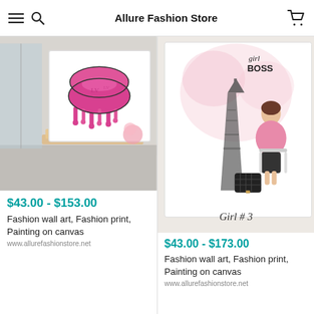Allure Fashion Store
[Figure (photo): Canvas painting with pink LV lips dripping, displayed on canvas boards near a window]
$43.00 - $153.00
Fashion wall art, Fashion print, Painting on canvas
www.allurefashionstore.net
[Figure (photo): Fashion illustration 'Girl # 3' showing elegant woman sitting in front of Eiffel Tower with Chanel bag, labeled 'girl BOSS']
$43.00 - $173.00
Fashion wall art, Fashion print, Painting on canvas
www.allurefashionstore.net